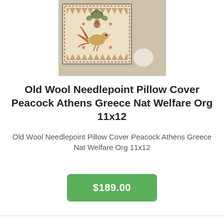[Figure (photo): A needlepoint pillow cover with a peacock/bird design on a cream background with decorative border, photographed on a marble surface.]
Old Wool Needlepoint Pillow Cover Peacock Athens Greece Nat Welfare Org 11x12
Old Wool Needlepoint Pillow Cover Peacock Athens Greece Nat Welfare Org 11x12
$189.00